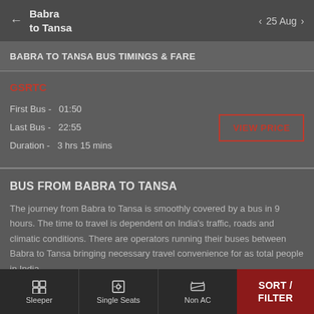Babra to Tansa  ←  25 Aug
BABRA TO TANSA BUS TIMINGS & FARE
GSRTC
First Bus - 01:50
Last Bus - 22:55
Duration - 3 hrs 15 mins
BUS FROM BABRA TO TANSA
The journey from Babra to Tansa is smoothly covered by a bus in 9 hours. The time to travel is dependent on India's traffic, roads and climatic conditions. There are operators running their buses between Babra to Tansa bringing necessary travel convenience for as total people in India.
Sleeper  Single Seats  Non AC  SORT / FILTER